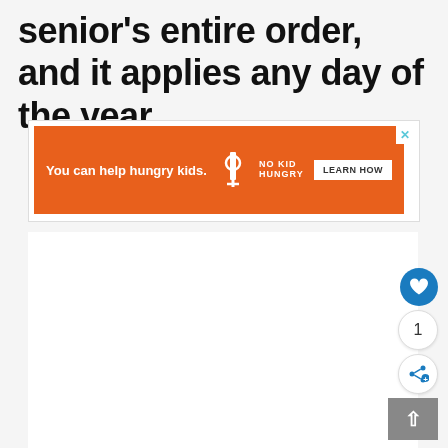senior's entire order, and it applies any day of the year.
[Figure (other): Orange advertisement banner for No Kid Hungry charity showing 'You can help hungry kids.' with No Kid Hungry logo and 'LEARN HOW' button, with close (X) button in top right corner]
[Figure (other): White content area (advertisement or blank content placeholder)]
[Figure (other): Blue circular heart/like button, count bubble showing '1', white circular share button, and grey scroll-to-top button with upward arrow]